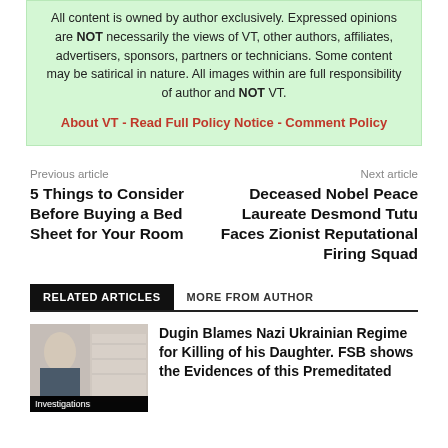All content is owned by author exclusively. Expressed opinions are NOT necessarily the views of VT, other authors, affiliates, advertisers, sponsors, partners or technicians. Some content may be satirical in nature. All images within are full responsibility of author and NOT VT.
About VT - Read Full Policy Notice - Comment Policy
Previous article
Next article
5 Things to Consider Before Buying a Bed Sheet for Your Room
Deceased Nobel Peace Laureate Desmond Tutu Faces Zionist Reputational Firing Squad
RELATED ARTICLES	MORE FROM AUTHOR
Dugin Blames Nazi Ukrainian Regime for Killing of his Daughter. FSB shows the Evidences of this Premeditated
Investigations